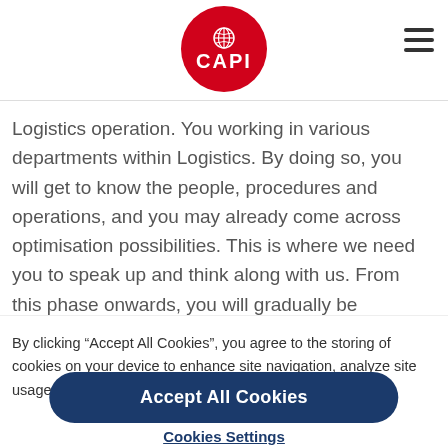CAPI logo and navigation header
Logistics operation. You working in various departments within Logistics. By doing so, you will get to know the people, procedures and operations, and you may already come across optimisation possibilities. This is where we need you to speak up and think along with us. From this phase onwards, you will gradually be assigned projects where you
By clicking “Accept All Cookies”, you agree to the storing of cookies on your device to enhance site navigation, analyze site usage, and assist in our marketing efforts.
Accept All Cookies
Cookies Settings